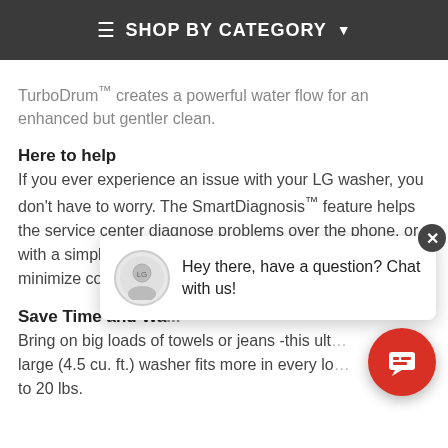≡ SHOP BY CATEGORY ▾
TurboDrum™ creates a powerful water flow for an enhanced but gentler clean.
Here to help
If you ever experience an issue with your LG washer, you don't have to worry. The SmartDiagnosis™ feature helps the service center diagnose problems over the phone, or with a simple app on your smartphone, helping you minimize costly, inc
Save Time and Wa...
Bring on big loads of towels or jeans -this ult... large (4.5 cu. ft.) washer fits more in every lo... to 20 lbs.
[Figure (screenshot): Chat popup bubble with logo icon and message 'Hey there, have a question? Chat with us!' with a close button, and a red circular chat button in the bottom right corner.]